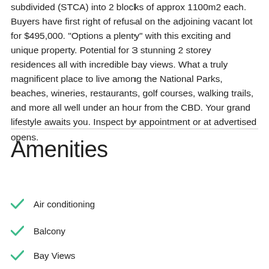subdivided (STCA) into 2 blocks of approx 1100m2 each. Buyers have first right of refusal on the adjoining vacant lot for $495,000. "Options a plenty" with this exciting and unique property. Potential for 3 stunning 2 storey residences all with incredible bay views. What a truly magnificent place to live among the National Parks, beaches, wineries, restaurants, golf courses, walking trails, and more all well under an hour from the CBD. Your grand lifestyle awaits you. Inspect by appointment or at advertised opens.
Amenities
Air conditioning
Balcony
Bay Views